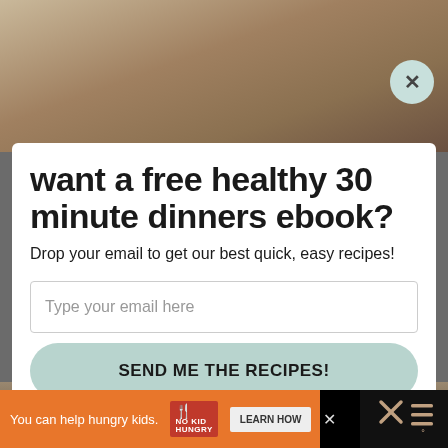[Figure (photo): Blurred food background photo — top portion showing baked/breaded food items]
want a free healthy 30 minute dinners ebook?
Drop your email to get our best quick, easy recipes!
Type your email here
SEND ME THE RECIPES!
[Figure (photo): Blurred food background photo — bottom portion]
You can help hungry kids.
LEARN HOW